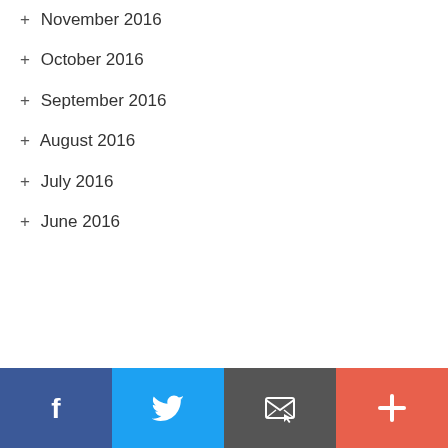+ November 2016
+ October 2016
+ September 2016
+ August 2016
+ July 2016
+ June 2016
[Figure (other): Social share bar with Facebook, Twitter, Email, and Plus buttons]